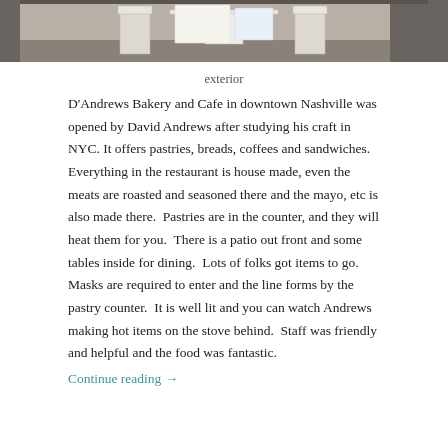[Figure (photo): Outdoor patio or exterior seating area with white chairs and a table with papers or a map on it, brick or stone pavement visible.]
exterior
D'Andrews Bakery and Cafe in downtown Nashville was opened by David Andrews after studying his craft in NYC. It offers pastries, breads, coffees and sandwiches.  Everything in the restaurant is house made, even the meats are roasted and seasoned there and the mayo, etc is also made there.  Pastries are in the counter, and they will heat them for you.  There is a patio out front and some tables inside for dining.  Lots of folks got items to go.  Masks are required to enter and the line forms by the pastry counter.  It is well lit and you can watch Andrews making hot items on the stove behind.  Staff was friendly and helpful and the food was fantastic.
Continue reading →